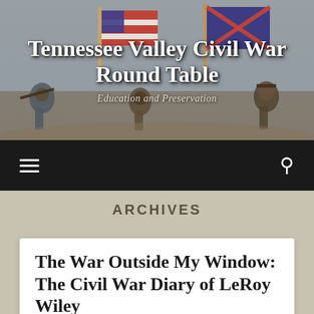[Figure (illustration): Civil War battle painting showing soldiers carrying American and Confederate flags charging forward, used as website header background]
Tennessee Valley Civil War Round Table
Education and Preservation
Navigation bar with hamburger menu icon and search icon on dark background
ARCHIVES
The War Outside My Window: The Civil War Diary of LeRoy Wiley